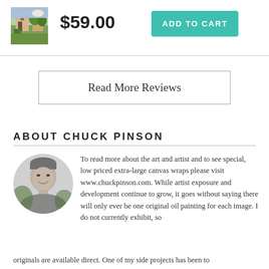[Figure (photo): Small thumbnail of a painting showing a cottage/church with trees and greenery]
$59.00
ADD TO CART
Read More Reviews
ABOUT CHUCK PINSON
[Figure (photo): Black and white circular portrait photo of Chuck Pinson, a smiling man]
To read more about the art and artist and to see special, low priced extra-large canvas wraps please visit www.chuckpinson.com. While artist exposure and development continue to grow, it goes without saying there will only ever be one original oil painting for each image. I do not currently exhibit, so originals are available direct. One of my side projects has been to